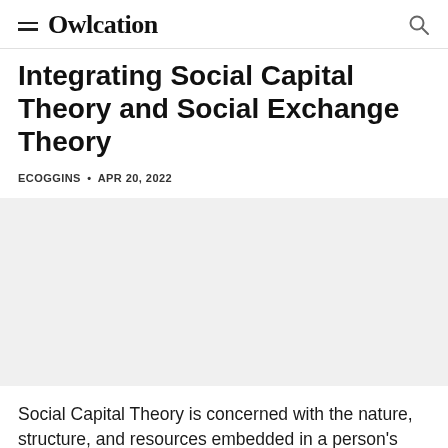Owlcation
Integrating Social Capital Theory and Social Exchange Theory
ECOGGINS • APR 20, 2022
[Figure (photo): Article image placeholder (blank/white area)]
Social Capital Theory is concerned with the nature, structure, and resources embedded in a person's